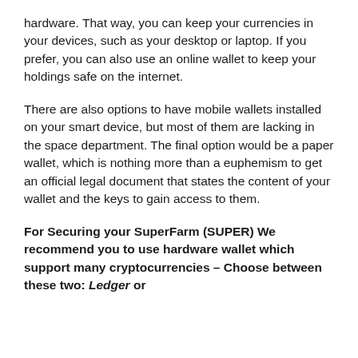hardware. That way, you can keep your currencies in your devices, such as your desktop or laptop. If you prefer, you can also use an online wallet to keep your holdings safe on the internet.
There are also options to have mobile wallets installed on your smart device, but most of them are lacking in the space department. The final option would be a paper wallet, which is nothing more than a euphemism to get an official legal document that states the content of your wallet and the keys to gain access to them.
For Securing your SuperFarm (SUPER) We recommend you to use hardware wallet which support many cryptocurrencies – Choose between these two: Ledger or